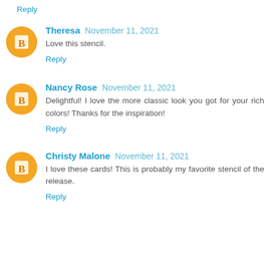Reply
Theresa  November 11, 2021
Love this stencil.
Reply
Nancy Rose  November 11, 2021
Delightful! I love the more classic look you got for your rich colors! Thanks for the inspiration!
Reply
Christy Malone  November 11, 2021
I love these cards! This is probably my favorite stencil of the release.
Reply